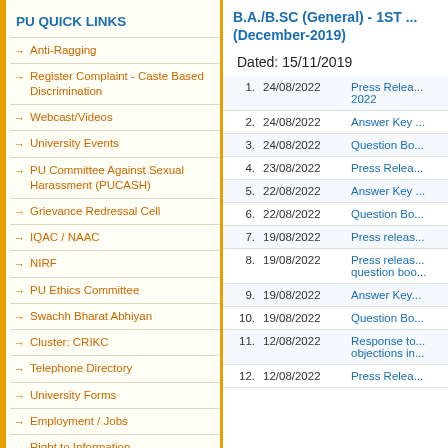PU QUICK LINKS
Anti-Ragging
Register Complaint - Caste Based Discrimination
Webcast/Videos
University Events
PU Committee Against Sexual Harassment (PUCASH)
Grievance Redressal Cell
IQAC / NAAC
NIRF
PU Ethics Committee
Swachh Bharat Abhiyan
Cluster: CRIKC
Telephone Directory
University Forms
Employment / Jobs
Right to Information
Alumni
Tenders
B.A./B.SC (General) - 1ST ... (December-2019)
Dated: 15/11/2019
| # | Date | Link |
| --- | --- | --- |
| 1. | 24/08/2022 | Press Relea... 2022 |
| 2. | 24/08/2022 | Answer Key ... |
| 3. | 24/08/2022 | Question Bo... |
| 4. | 23/08/2022 | Press Relea... |
| 5. | 22/08/2022 | Answer Key ... |
| 6. | 22/08/2022 | Question Bo... |
| 7. | 19/08/2022 | Press releas... |
| 8. | 19/08/2022 | Press releas... question boo... |
| 9. | 19/08/2022 | Answer Key... |
| 10. | 19/08/2022 | Question Bo... |
| 11. | 12/08/2022 | Response to... objections in... |
| 12. | 12/08/2022 | Press Relea... |